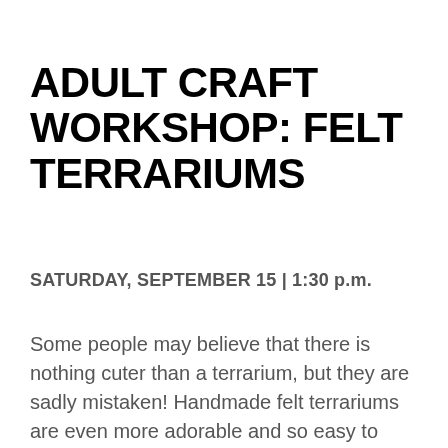ADULT CRAFT WORKSHOP: FELT TERRARIUMS
SATURDAY, SEPTEMBER 15 | 1:30 p.m.
Some people may believe that there is nothing cuter than a terrarium, but they are sadly mistaken! Handmade felt terrariums are even more adorable and so easy to make. Perfect for plant-killers and others who prefer low maintenance flora, after this class you'll never water again! No felting experience needed. Registration required. This craft is intended for